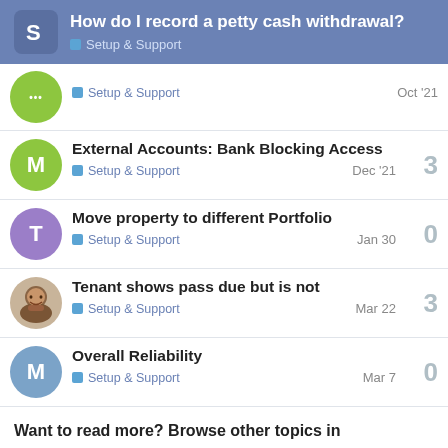How do I record a petty cash withdrawal? — Setup & Support
Setup & Support — Oct '21
External Accounts: Bank Blocking Access — Setup & Support — Dec '21 — 3 replies
Move property to different Portfolio — Setup & Support — Jan 30 — 0 replies
Tenant shows pass due but is not — Setup & Support — Mar 22 — 3 replies
Overall Reliability — Setup & Support — Mar 7 — 0 replies
Want to read more? Browse other topics in Setup & Support or view latest topics.